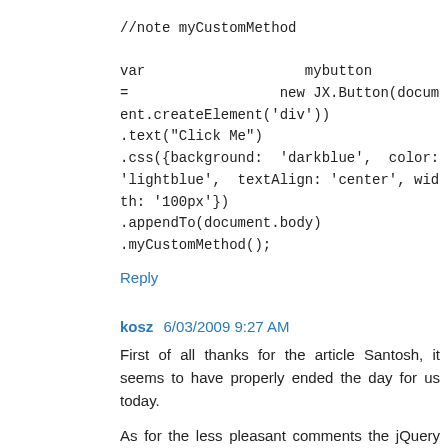//note myCustomMethod

var mybutton = new JX.Button(document.createElement('div'))
.text("Click Me")
.css({background: 'darkblue', color: 'lightblue', textAlign: 'center', width: '100px'})
.appendTo(document.body)
.myCustomMethod();
Reply
kosz  6/03/2009 9:27 AM
First of all thanks for the article Santosh, it seems to have properly ended the day for us today.
As for the less pleasant comments the jQuery representative has left you, I'd like to remind them, that jQuery tries to sort of reinvent the wheel when it comes to object orientation, and while they, as experts in their own field, may appreciate, other people that may be still fond of